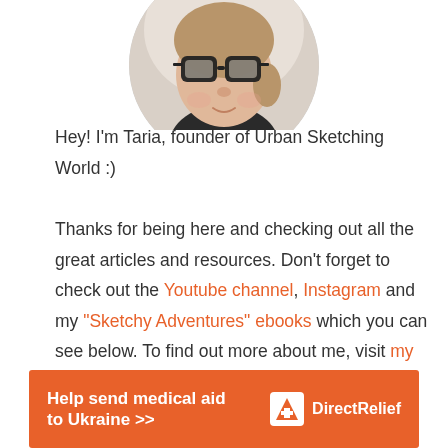[Figure (photo): Circular profile photo of Taria, a woman wearing large black-framed glasses, smiling slightly, with light hair pulled back, wearing a dark top. Photo shown in a circular crop.]
Hey! I'm Taria, founder of Urban Sketching World :) Thanks for being here and checking out all the great articles and resources. Don't forget to check out the Youtube channel, Instagram and my "Sketchy Adventures" ebooks which you can see below. To find out more about me, visit my about page.
[Figure (infographic): Orange banner advertisement reading 'Help send medical aid to Ukraine >>' with Direct Relief logo on the right side.]